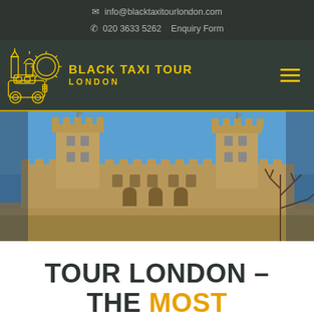info@blacktaxitourlondon.com
020 3633 5262   Enquiry Form
[Figure (logo): Black Taxi Tour London logo with taxi and London skyline illustration in yellow outline, with text BLACK TAXI TOUR LONDON]
[Figure (photo): Photo of the Tower of London castle with blue sky and bare trees]
TOUR LONDON – THE MOST